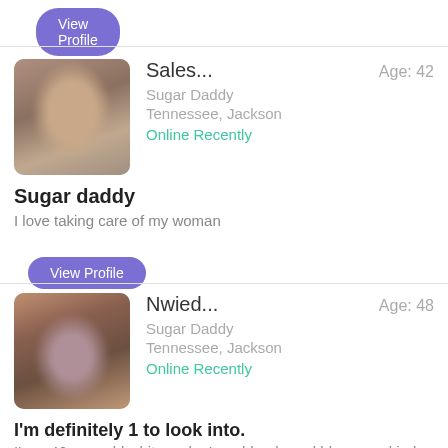View Profile
[Figure (photo): Blurred profile photo of a person, rounded square avatar]
Sales...  Age: 42
Sugar Daddy
Tennessee, Jackson
Online Recently
Sugar daddy
I love taking care of my woman
View Profile
[Figure (photo): Blurred profile photo of a person, rounded square avatar]
Nwied...  Age: 48
Sugar Daddy
Tennessee, Jackson
Online Recently
I'm definitely 1 to look into.
I'm a 46 year old white male. I am blonde and blue eyes kinda guy.